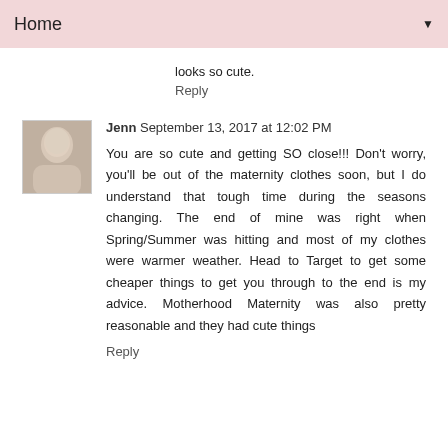Home ▼
looks so cute.
Reply
Jenn September 13, 2017 at 12:02 PM
You are so cute and getting SO close!!! Don't worry, you'll be out of the maternity clothes soon, but I do understand that tough time during the seasons changing. The end of mine was right when Spring/Summer was hitting and most of my clothes were warmer weather. Head to Target to get some cheaper things to get you through to the end is my advice. Motherhood Maternity was also pretty reasonable and they had cute things
Reply